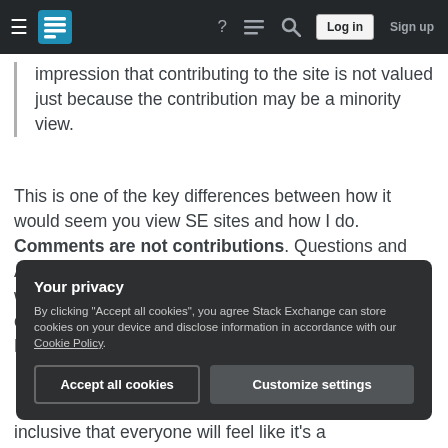Stack Exchange navigation bar with hamburger menu, logo, help, chat, search, Log in, Sign up
impression that contributing to the site is not valued just because the contribution may be a minority view.
This is one of the key differences between how it would seem you view SE sites and how I do. Comments are not contributions. Questions and Answers are contributions. Comments are there as a way of polishing the questions and answers. Long comment discussions are specifically discouraged. Now, this is frequently abused - I do so myself - but
Your privacy
By clicking "Accept all cookies", you agree Stack Exchange can store cookies on your device and disclose information in accordance with our Cookie Policy.
Accept all cookies    Customize settings
inclusive that everyone will feel like it's a